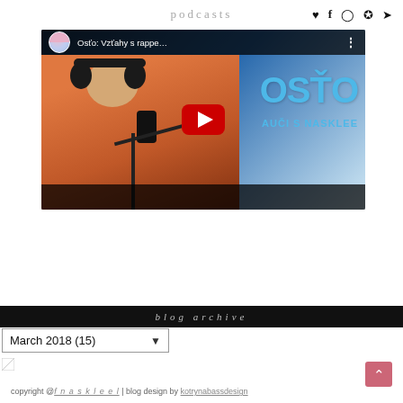podcasts
[Figure (screenshot): YouTube video thumbnail showing a man with headphones at a microphone, with the title 'Osťo: Vzťahy s rappe...' and the OSŤO NAUČI S NASKLEE branding]
blog archive
March 2018 (15)
copyright @ fnaskleel | blog design by kotrynabassdesign